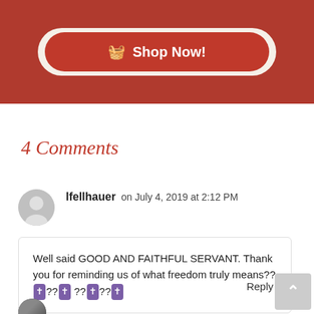[Figure (screenshot): Red banner with a Shop Now button in white text with a basket icon, set inside a cream/beige rounded container on a dark red background.]
4 Comments
lfellhauer on July 4, 2019 at 2:12 PM
Well said GOOD AND FAITHFUL SERVANT. Thank you for reminding us of what freedom truly means??✝??✝ ??✝??✝
Reply